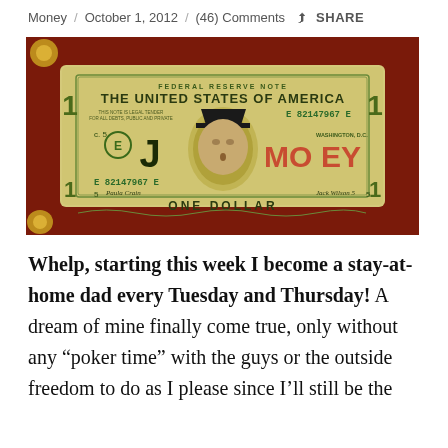Money / October 1, 2012 / (46) Comments  SHARE
[Figure (photo): A US one dollar bill modified to read 'J MONEY' with a cartoon character hat placed over George Washington's portrait, placed on a red background.]
Whelp, starting this week I become a stay-at-home dad every Tuesday and Thursday! A dream of mine finally come true, only without any “poker time” with the guys or the outside freedom to do as I please since I’ll still be the